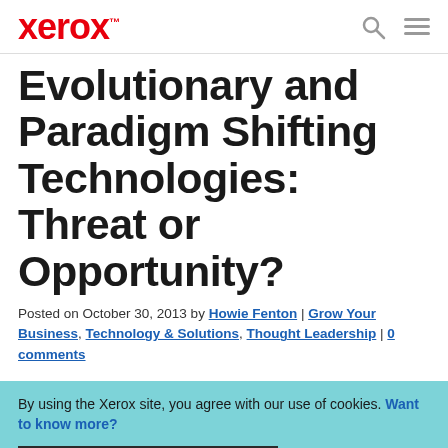xerox™
Evolutionary and Paradigm Shifting Technologies: Threat or Opportunity?
Posted on October 30, 2013 by Howie Fenton | Grow Your Business, Technology & Solutions, Thought Leadership | 0 comments
By using the Xerox site, you agree with our use of cookies. Want to know more?
I consent to cookies
challenges today is to figure